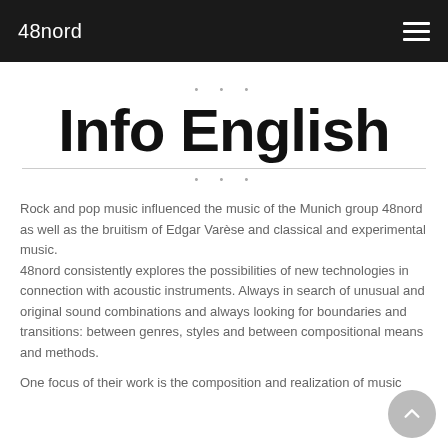48nord
Info English
Rock and pop music influenced the music of the Munich group 48nord as well as the bruitism of Edgar Varèse and classical and experimental music.
48nord consistently explores the possibilities of new technologies in connection with acoustic instruments. Always in search of unusual and original sound combinations and always looking for boundaries and transitions: between genres, styles and between compositional means and methods.
One focus of their work is the composition and realization of music